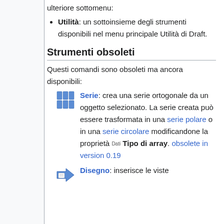ulteriore sottomenu:
Utilità: un sottoinsieme degli strumenti disponibili nel menu principale Utilità di Draft.
Strumenti obsoleti
Questi comandi sono obsoleti ma ancora disponibili:
Serie: crea una serie ortogonale da un oggetto selezionato. La serie creata può essere trasformata in una serie polare o in una serie circolare modificandone la proprietà Dati Tipo di array. obsolete in version 0.19
Disegno: inserisce le viste